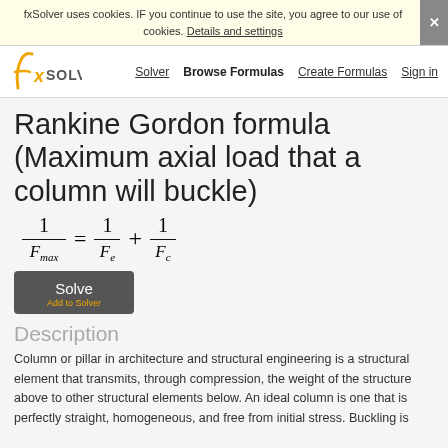fxSolver uses cookies. IF you continue to use the site, you agree to our use of cookies. Details and settings
[Figure (logo): fxSolver logo with stylized f and x with SOLVER text]
Rankine Gordon formula (Maximum axial load that a column will buckle)
Description
Column or pillar in architecture and structural engineering is a structural element that transmits, through compression, the weight of the structure above to other structural elements below. An ideal column is one that is perfectly straight, homogeneous, and free from initial stress. Buckling is